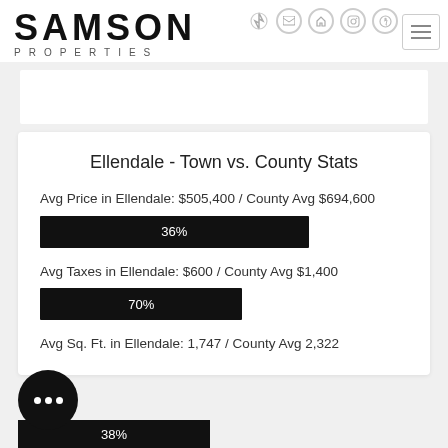[Figure (logo): Samson Properties logo with large SAMSON text and smaller PROPERTIES text below]
Ellendale - Town vs. County Stats
Avg Price in Ellendale: $505,400 / County Avg $694,600
[Figure (bar-chart): Avg Price comparison]
Avg Taxes in Ellendale: $600 / County Avg $1,400
[Figure (bar-chart): Avg Taxes comparison]
Avg Sq. Ft. in Ellendale: 1,747 / County Avg 2,322
[Figure (bar-chart): Avg Sq Ft comparison]